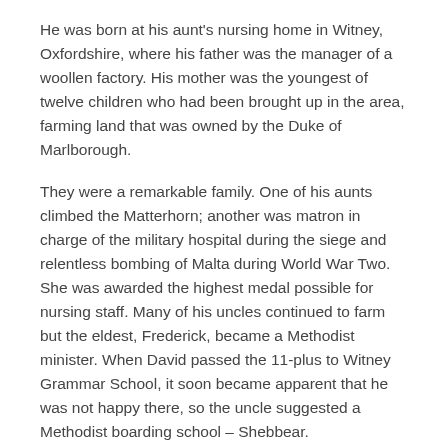He was born at his aunt's nursing home in Witney, Oxfordshire, where his father was the manager of a woollen factory. His mother was the youngest of twelve children who had been brought up in the area, farming land that was owned by the Duke of Marlborough.
They were a remarkable family. One of his aunts climbed the Matterhorn; another was matron in charge of the military hospital during the siege and relentless bombing of Malta during World War Two. She was awarded the highest medal possible for nursing staff. Many of his uncles continued to farm but the eldest, Frederick, became a Methodist minister. When David passed the 11-plus to Witney Grammar School, it soon became apparent that he was not happy there, so the uncle suggested a Methodist boarding school – Shebbear.